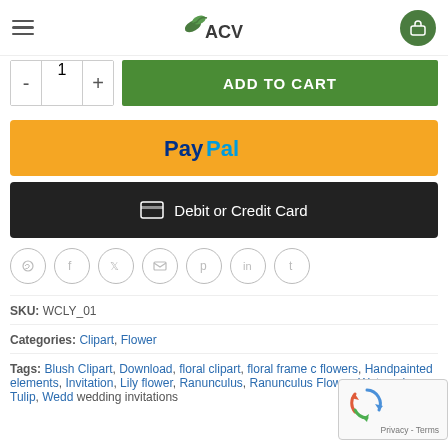[Figure (logo): ACV brand logo with green horse and leaf icon]
- 1 + ADD TO CART
[Figure (screenshot): PayPal yellow payment button]
[Figure (screenshot): Debit or Credit Card dark button with card icon]
[Figure (infographic): Social share icons row: WhatsApp, Facebook, Twitter, Email, Pinterest, LinkedIn, Tumblr]
SKU: WCLY_01
Categories: Clipart, Flower
Tags: Blush Clipart, Download, floral clipart, floral frame c... flowers, Handpainted elements, Invitation, Lily flower, Ranunculus, Ranunculus Flower, Watercolor Tulip, Wedd... wedding invitations